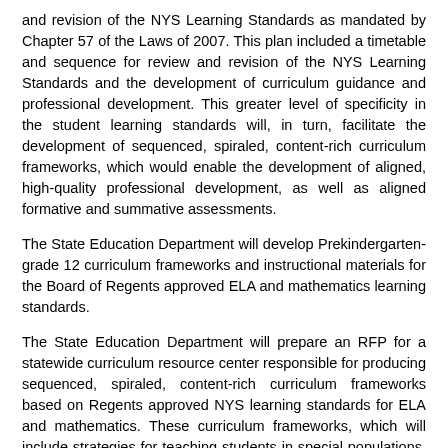and revision of the NYS Learning Standards as mandated by Chapter 57 of the Laws of 2007. This plan included a timetable and sequence for review and revision of the NYS Learning Standards and the development of curriculum guidance and professional development. This greater level of specificity in the student learning standards will, in turn, facilitate the development of sequenced, spiraled, content-rich curriculum frameworks, which would enable the development of aligned, high-quality professional development, as well as aligned formative and summative assessments.
The State Education Department will develop Prekindergarten-grade 12 curriculum frameworks and instructional materials for the Board of Regents approved ELA and mathematics learning standards.
The State Education Department will prepare an RFP for a statewide curriculum resource center responsible for producing sequenced, spiraled, content-rich curriculum frameworks based on Regents approved NYS learning standards for ELA and mathematics. These curriculum frameworks, which will include strategies for teaching students in special populations, will help to ensure all students have access to a world-class curriculum. Through the use of these frameworks, how best to attract the